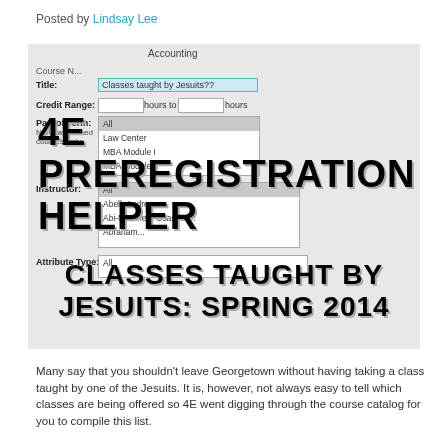Posted by Lindsay Lee
[Figure (screenshot): Screenshot of a university course search interface showing fields for Title (with 'Classes taught by Jesuits??' entered), Credit Range, Part of Term (with options All, Law Center, MBA Module I, MBA Module II), Instructor (with options All, Abell Andrew, Abi-Mershed Osama W, Abraham...), and Attribute Type. Overlaid with large bold text '4E PREREGISTRATION HELPER' and 'CLASSES TAUGHT BY JESUITS: SPRING 2014']
Many say that you shouldn’t leave Georgetown without having taking a class taught by one of the Jesuits. It is, however, not always easy to tell which classes are being offered so 4E went digging through the course catalog for you to compile this list.
If you click on the name of the professor, you will find their university bio, if you click the check mark to the right of their name, you will find their Rate My Professor page. The classes are listed by [SUBJECT Class Number (CRN code): Class Name].
Rev. Matthew Carnes, S.J.